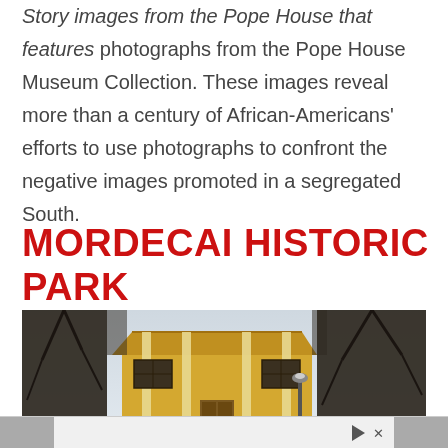Story images from the Pope House that features photographs from the Pope House Museum Collection. These images reveal more than a century of African-Americans' efforts to use photographs to confront the negative images promoted in a segregated South.
MORDECAI HISTORIC PARK
[Figure (photo): Exterior photo of Mordecai Historic Park showing a yellow antebellum-style house with columns, surrounded by bare winter trees, with a lamp post in front.]